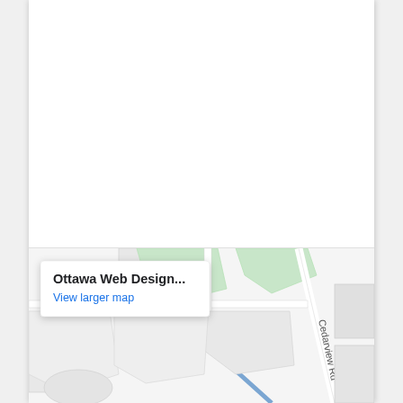[Figure (map): Google Maps embed showing Ottawa Web Design location near Cedarview Rd, with a white popup card displaying the business name 'Ottawa Web Design...' and a 'View larger map' link. The map shows street outlines, green areas, and a blue road. The map is partially cropped at the bottom of the page.]